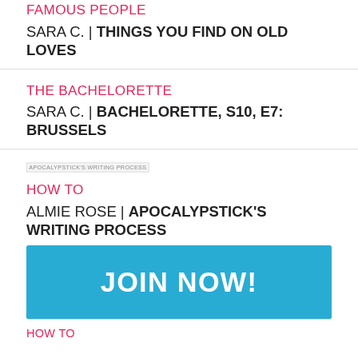FAMOUS PEOPLE
SARA C. | THINGS YOU FIND ON OLD LOVES
THE BACHELORETTE
SARA C. | BACHELORETTE, S10, E7: BRUSSELS
[Figure (other): Broken image placeholder: APOCALYPSTICK'S WRITING PROCESS]
HOW TO
ALMIE ROSE | APOCALYPSTICK'S WRITING PROCESS
JOIN NOW!
HOW TO